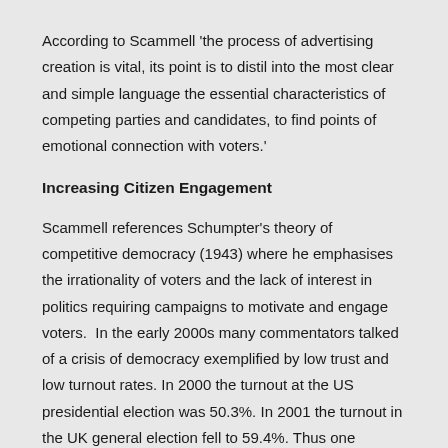According to Scammell 'the process of advertising creation is vital, its point is to distil into the most clear and simple language the essential characteristics of competing parties and candidates, to find points of emotional connection with voters.'
Increasing Citizen Engagement
Scammell references Schumpter's theory of competitive democracy (1943) where he emphasises the irrationality of voters and the lack of interest in politics requiring campaigns to motivate and engage voters.  In the early 2000s many commentators talked of a crisis of democracy exemplified by low trust and low turnout rates. In 2000 the turnout at the US presidential election was 50.3%. In 2001 the turnout in the UK general election fell to 59.4%. Thus one potential benefit of campaigns that use marketing techniques to understand concerns, and to respond to them, might be to increase engagement and turnout.